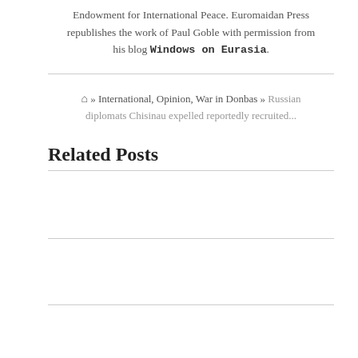Endowment for International Peace. Euromaidan Press republishes the work of Paul Goble with permission from his blog Windows on Eurasia.
🏠 » International, Opinion, War in Donbas » Russian diplomats Chisinau expelled reportedly recruited...
Related Posts